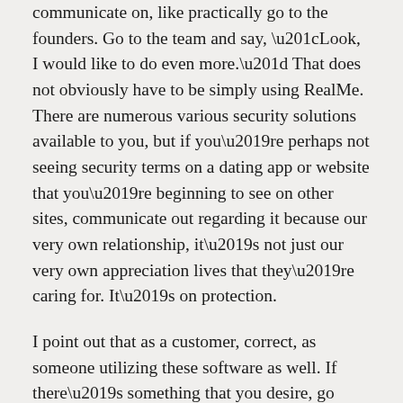communicate on, like practically go to the founders. Go to the team and say, “Look, I would like to do even more.” That does not obviously have to be simply using RealMe. There are numerous various security solutions available to you, but if you’re perhaps not seeing security terms on a dating app or website that you’re beginning to see on other sites, communicate out regarding it because our very own relationship, it’s not just our very own appreciation lives that they’re caring for. It’s on protection.
I point out that as a customer, correct, as someone utilizing these software as well. If there’s something that you desire, go right to the service providers and say, “Look, We don’t think secure this is why. I want you doing additional background records searches. I Really Want You to supply me a blue proven check and so I understand people is actually which they claim they have been.” Because i’m like they make a lot of money from all of us as consumers therefore as how the power in data, correct